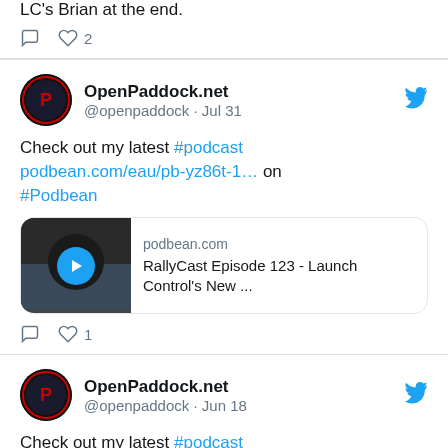LC's Brian at the end.
comment icon, heart 2
OpenPaddock.net @openpaddock · Jul 31
Check out my latest #podcast podbean.com/eau/pb-yz86t-1… on #Podbean
[Figure (screenshot): Link card showing podbean.com - RallyCast Episode 123 - Launch Control's New ...]
comment icon, heart 1
OpenPaddock.net @openpaddock · Jun 18
Check out my latest #podcast podbean.com/eau/pb-bqux6-1… on